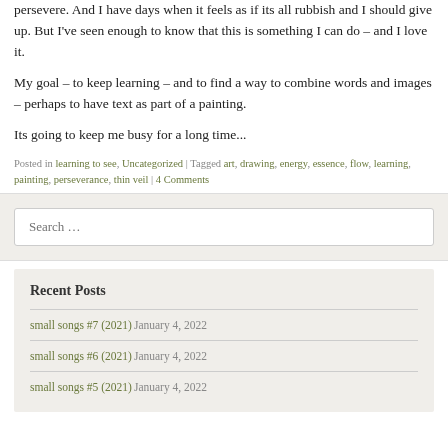persevere. And I have days when it feels as if its all rubbish and I should give up. But I've seen enough to know that this is something I can do – and I love it.
My goal – to keep learning – and to find a way to combine words and images – perhaps to have text as part of a painting.
Its going to keep me busy for a long time...
Posted in learning to see, Uncategorized | Tagged art, drawing, energy, essence, flow, learning, painting, perseverance, thin veil | 4 Comments
Search ...
Recent Posts
small songs #7 (2021) January 4, 2022
small songs #6 (2021) January 4, 2022
small songs #5 (2021) January 4, 2022